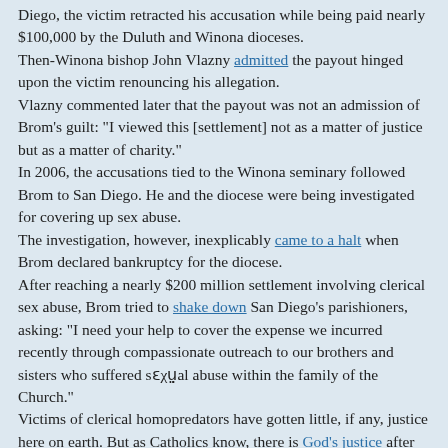Diego, the victim retracted his accusation while being paid nearly $100,000 by the Duluth and Winona dioceses.
Then-Winona bishop John Vlazny admitted the payout hinged upon the victim renouncing his allegation.
Vlazny commented later that the payout was not an admission of Brom's guilt: "I viewed this [settlement] not as a matter of justice but as a matter of charity."
In 2006, the accusations tied to the Winona seminary followed Brom to San Diego. He and the diocese were being investigated for covering up sex abuse.
The investigation, however, inexplicably came to a halt when Brom declared bankruptcy for the diocese.
After reaching a nearly $200 million settlement involving clerical sex abuse, Brom tried to shake down San Diego's parishioners, asking: "I need your help to cover the expense we incurred recently through compassionate outreach to our brothers and sisters who suffered sεxual abuse within the family of the Church."
Victims of clerical homopredators have gotten little, if any, justice here on earth. But as Catholics know, there is God's justice after death, and nobody is exempt from that.
Clerical sex abuse investigator Richard Sipe listed Brom as a prominent part of the U.S. hierarchy's ℌomosexual network of